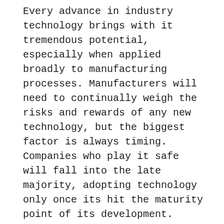Every advance in industry technology brings with it tremendous potential, especially when applied broadly to manufacturing processes. Manufacturers will need to continually weigh the risks and rewards of any new technology, but the biggest factor is always timing. Companies who play it safe will fall into the late majority, adopting technology only once its hit the maturity point of its development. Those who want to be the forerunners in their industry will adapt newer technology faster, and take on greater risks if the technology doesn't offer the rewards they anticipated.
No matter where on the spectrum your own company lies, staying on top of industry developments is the best way to keep business from sliding into laggard territory. After all, failure to